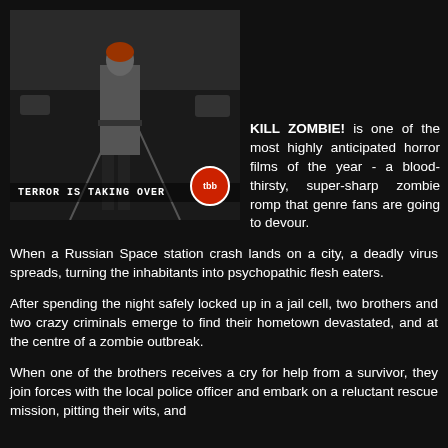[Figure (photo): Movie poster for Kill Zombie! showing a person standing on a road with text 'TERROR IS TAKING OVER' and a red circular logo]
KILL ZOMBIE! is one of the most highly anticipated horror films of the year - a blood-thirsty, super-sharp zombie romp that genre fans are going to devour.
When a Russian Space station crash lands on a city, a deadly virus spreads, turning the inhabitants into psychopathic flesh eaters.
After spending the night safely locked up in a jail cell, two brothers and two crazy criminals emerge to find their hometown devastated, and at the centre of a zombie outbreak.
When one of the brothers receives a cry for help from a survivor, they join forces with the local police officer and embark on a reluctant rescue mission, pitting their wits, and